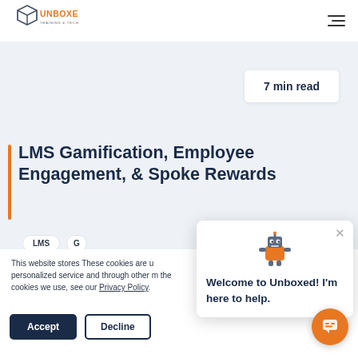[Figure (logo): Unboxed Training & Technology logo — box icon with UNBOXED in orange and 'TRAINING & TECHNOLOGY' in gray below]
7 min read
LMS Gamification, Employee Engagement, & Spoke Rewards
This website stores These cookies are u personalized service and through other m the cookies we use, see our Privacy Policy.
[Figure (illustration): Robot/owl mascot illustration for Unboxed chat widget]
Welcome to Unboxed! I'm here to help.
Accept
Decline